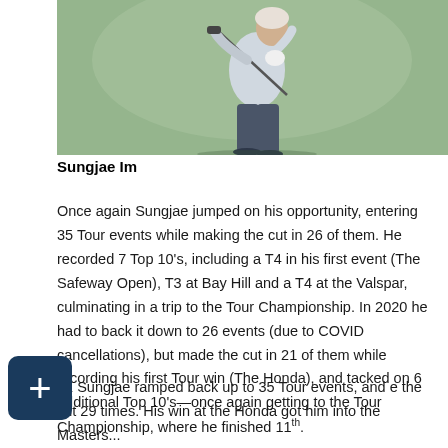[Figure (photo): Sungjae Im swinging a golf club, wearing white shirt and dark pants, green background]
Sungjae Im
Once again Sungjae jumped on his opportunity, entering 35 Tour events while making the cut in 26 of them. He recorded 7 Top 10's, including a T4 in his first event (The Safeway Open), T3 at Bay Hill and a T4 at the Valspar, culminating in a trip to the Tour Championship. In 2020 he had to back it down to 26 events (due to COVID cancellations), but made the cut in 21 of them while recording his first Tour win (The Honda), and tacked on 6 additional Top 10's—once again getting to the Tour Championship, where he finished 11th.
21 Sungjae ramped back up to 35 Tour events, and e the cut 29 times. His win at the Honda got him into the Masters...